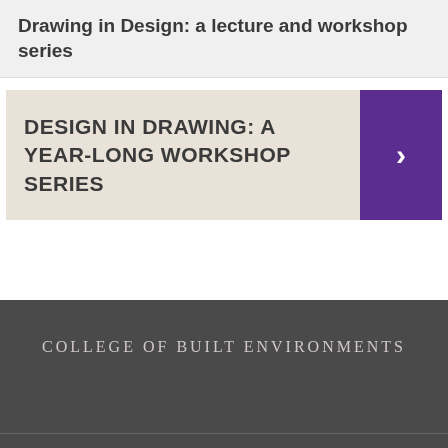Drawing in Design: a lecture and workshop series
DESIGN IN DRAWING: A YEAR-LONG WORKSHOP SERIES
COLLEGE OF BUILT ENVIRONMENTS